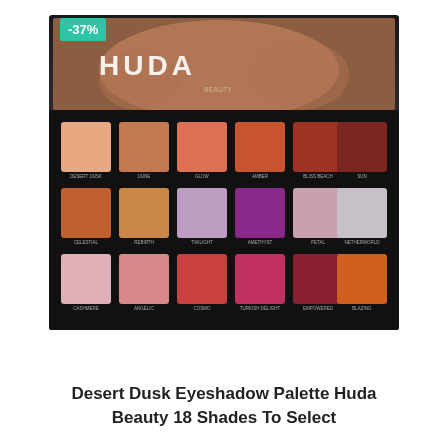-37%
[Figure (photo): Huda Beauty Desert Dusk Eyeshadow Palette with 18 shades in warm desert and jewel tones arranged in 3 rows of 6, with a model's face on the lid]
Desert Dusk Eyeshadow Palette Huda Beauty 18 Shades To Select